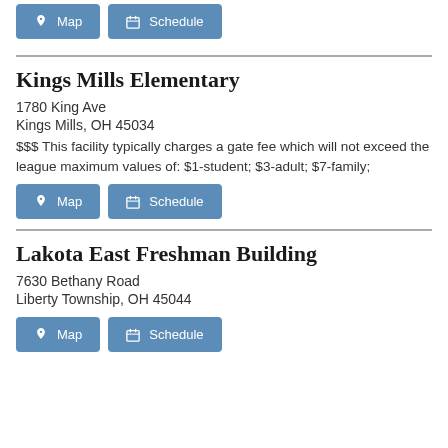Map | Schedule (top buttons)
Kings Mills Elementary
1780 King Ave
Kings Mills, OH 45034
$$$ This facility typically charges a gate fee which will not exceed the league maximum values of: $1-student; $3-adult; $7-family;
Map | Schedule (middle buttons)
Lakota East Freshman Building
7630 Bethany Road
Liberty Township, OH 45044
Map | Schedule (bottom buttons)